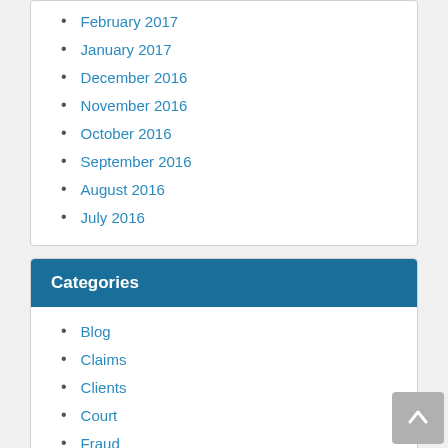February 2017
January 2017
December 2016
November 2016
October 2016
September 2016
August 2016
July 2016
Categories
Blog
Claims
Clients
Court
Fraud
Legislation